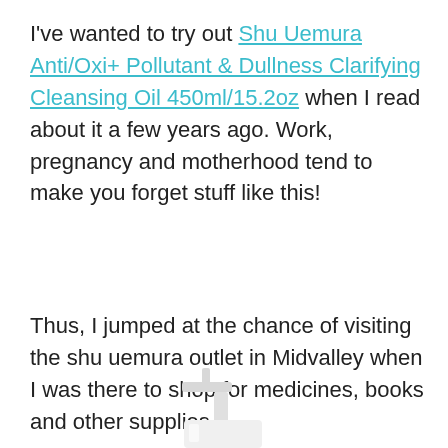I've wanted to try out Shu Uemura Anti/Oxi+ Pollutant & Dullness Clarifying Cleansing Oil 450ml/15.2oz when I read about it a few years ago. Work, pregnancy and motherhood tend to make you forget stuff like this!
Thus, I jumped at the chance of visiting the shu uemura outlet in Midvalley when I was there to shop for medicines, books and other supplies.
[Figure (photo): Bottom portion of a white pump bottle of Shu Uemura cleansing oil, partially visible at the bottom of the page]